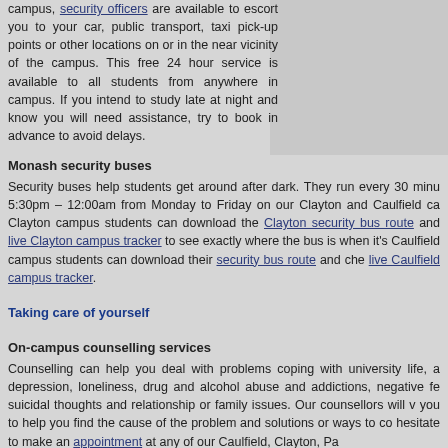campus, security officers are available to escort you to your car, public transport, taxi pick-up points or other locations on or in the near vicinity of the campus. This free 24 hour service is available to all students from anywhere in campus. If you intend to study late at night and know you will need assistance, try to book in advance to avoid delays.
Monash security buses
Security buses help students get around after dark. They run every 30 minu 5:30pm – 12:00am from Monday to Friday on our Clayton and Caulfield ca Clayton campus students can download the Clayton security bus route and live Clayton campus tracker to see exactly where the bus is when it's Caulfield campus students can download their security bus route and che live Caulfield campus tracker.
Taking care of yourself
On-campus counselling services
Counselling can help you deal with problems coping with university life, a depression, loneliness, drug and alcohol abuse and addictions, negative fe suicidal thoughts and relationship or family issues. Our counsellors will v you to help you find the cause of the problem and solutions or ways to co hesitate to make an appointment at any of our Caulfield, Clayton, Pa